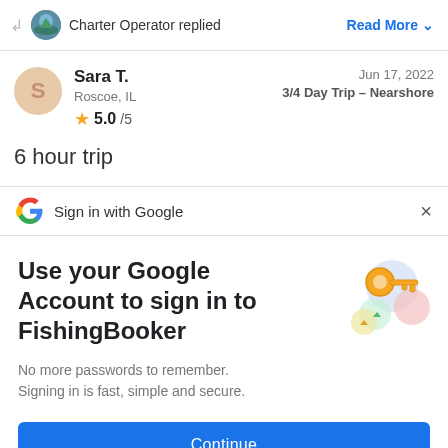Charter Operator replied
Read More
Sara T.
Roscoe, IL
5.0/5
Jun 17, 2022
3/4 Day Trip – Nearshore
6 hour trip
Sign in with Google
Use your Google Account to sign in to FishingBooker
No more passwords to remember. Signing in is fast, simple and secure.
Continue